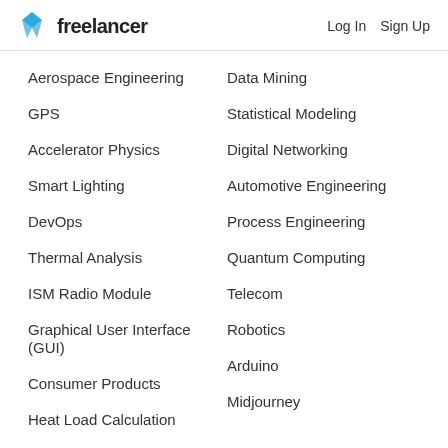Freelancer | Log In | Sign Up
Aerospace Engineering
GPS
Accelerator Physics
Smart Lighting
DevOps
Thermal Analysis
ISM Radio Module
Graphical User Interface (GUI)
Consumer Products
Heat Load Calculation
Data Mining
Statistical Modeling
Digital Networking
Automotive Engineering
Process Engineering
Quantum Computing
Telecom
Robotics
Arduino
Midjourney